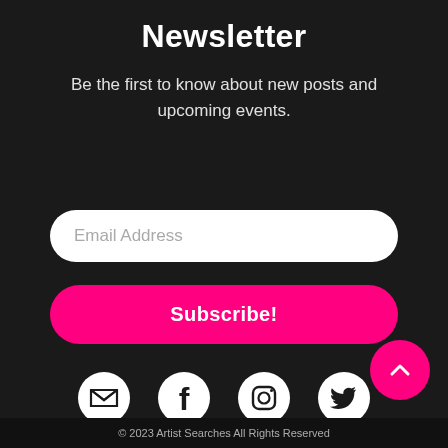Newsletter
Be the first to know about new posts and upcoming events.
[Figure (other): Email address input field (white, rounded) with placeholder text 'Email Address']
[Figure (other): Pink rounded Subscribe! button]
[Figure (other): Social media icons: email/envelope, Facebook, Instagram, Twitter]
[Figure (other): Pink circular back-to-top button with upward chevron arrow]
© 2023 Artist Searches All Rights Reserved